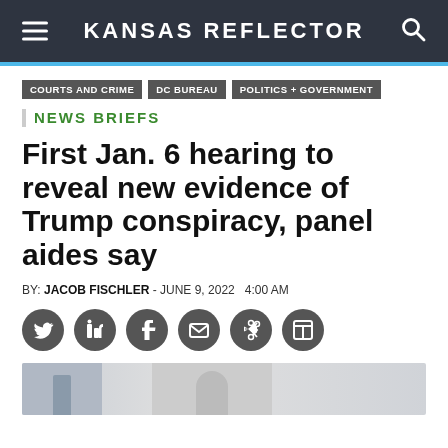KANSAS REFLECTOR
COURTS AND CRIME
DC BUREAU
POLITICS + GOVERNMENT
NEWS BRIEFS
First Jan. 6 hearing to reveal new evidence of Trump conspiracy, panel aides say
BY: JACOB FISCHLER - JUNE 9, 2022   4:00 AM
[Figure (screenshot): Partial photo of a government building visible at the bottom of the page]